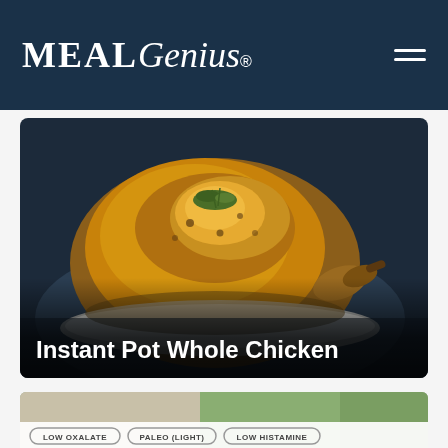MealGenius
[Figure (photo): A golden-brown roasted whole chicken on a white serving plate, garnished with fresh herbs on top, photographed close-up on a dark background.]
Instant Pot Whole Chicken
[Figure (photo): Partial view of a second recipe card. Tags visible: LOW OXALATE, PALEO (LIGHT), LOW HISTAMINE.]